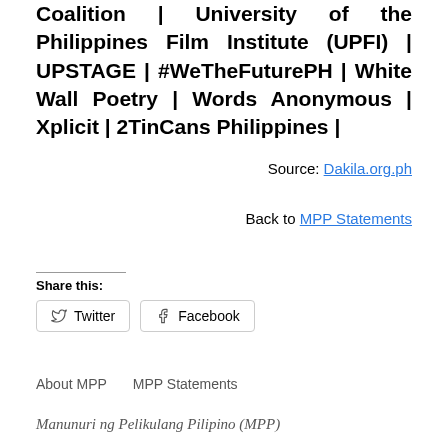Coalition | University of the Philippines Film Institute (UPFI) | UPSTAGE | #WeTheFuturePH | White Wall Poetry | Words Anonymous | Xplicit | 2TinCans Philippines |
Source: Dakila.org.ph
Back to MPP Statements
Share this:
Twitter
Facebook
About MPP    MPP Statements
Manunuri ng Pelikulang Pilipino (MPP)